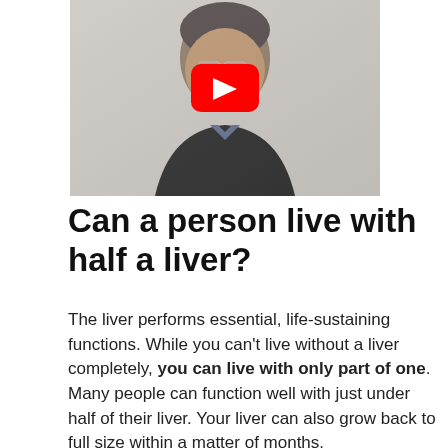[Figure (photo): A man in a dark suit and tie, middle-aged, wearing glasses, photographed from the shoulders up against a light background. A red YouTube play button overlay is centered on the image.]
Can a person live with half a liver?
The liver performs essential, life-sustaining functions. While you can't live without a liver completely, you can live with only part of one. Many people can function well with just under half of their liver. Your liver can also grow back to full size within a matter of months.